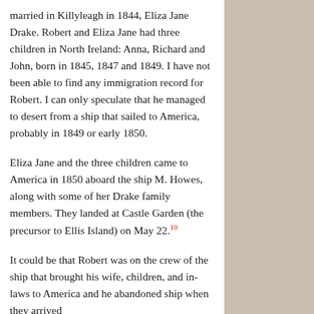married in Killyleagh in 1844, Eliza Jane Drake. Robert and Eliza Jane had three children in North Ireland: Anna, Richard and John, born in 1845, 1847 and 1849. I have not been able to find any immigration record for Robert. I can only speculate that he managed to desert from a ship that sailed to America, probably in 1849 or early 1850.
Eliza Jane and the three children came to America in 1850 aboard the ship M. Howes, along with some of her Drake family members. They landed at Castle Garden (the precursor to Ellis Island) on May 22.[10]
It could be that Robert was on the crew of the ship that brought his wife, children, and in-laws to America and he abandoned ship when they arrived